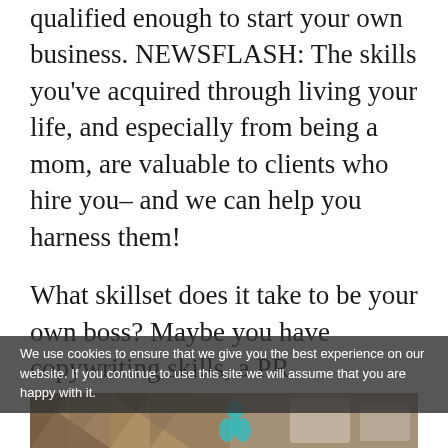qualified enough to start your own business. NEWSFLASH: The skills you've acquired through living your life, and especially from being a mom, are valuable to clients who hire you– and we can help you harness them!
What skillset does it take to be your own boss? Maybe you have copywriting skills, a PR background, customer service experience or just a love for using social media. At Hay There Social Media, we use social media marketing as the vehicle to empower women to start their own businesses.
We use cookies to ensure that we give you the best experience on our website. If you continue to use this site we will assume that you are happy with it.
[Figure (photo): Partial photo of a room interior with wooden herringbone floor/wall detail and some furniture in background, partially obscured by cookie consent overlay. Teal/turquoise character icon visible in center.]